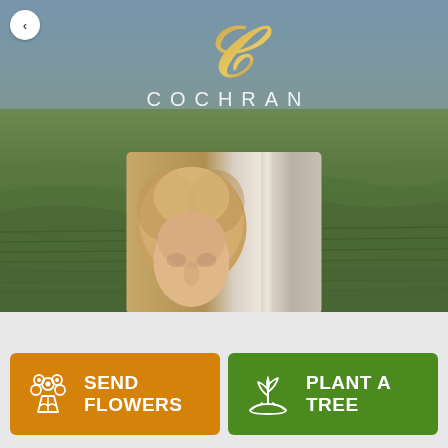[Figure (logo): Cochran funeral home logo — decorative gold script letter C above the word COCHRAN in white spaced letters, overlaid on a landscape background of rolling green hills under a blue-grey sky]
[Figure (photo): Partial portrait photograph of an elderly woman with short curly blonde/grey hair, photographed indoors near a white door frame]
SEND FLOWERS
PLANT A TREE